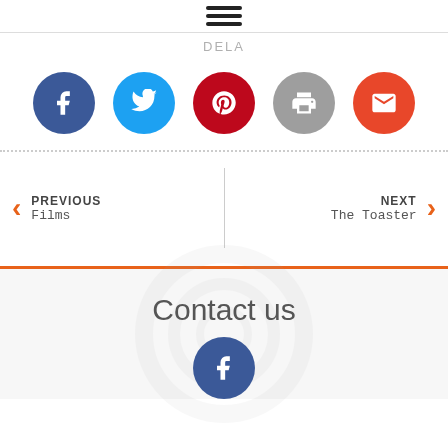[Figure (other): Hamburger menu icon (three horizontal lines)]
DELA
[Figure (other): Social media sharing icons: Facebook (blue circle), Twitter (sky blue circle), Pinterest (red circle), Print (gray circle), Email (orange-red circle)]
PREVIOUS Films
NEXT The Toaster
Contact us